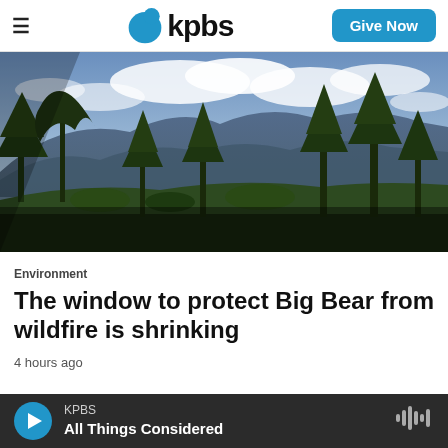KPBS — hamburger menu, logo, Give Now button
[Figure (photo): Mountain landscape with pine trees in foreground, mountain ridgeline in background, partly cloudy sky. Big Bear wilderness area.]
Environment
The window to protect Big Bear from wildfire is shrinking
4 hours ago
KPBS — All Things Considered (audio player bar)